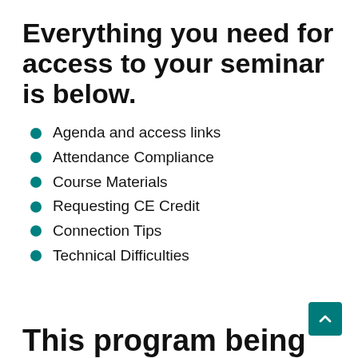Everything you need for access to your seminar is below.
Agenda and access links
Attendance Compliance
Course Materials
Requesting CE Credit
Connection Tips
Technical Difficulties
This program being